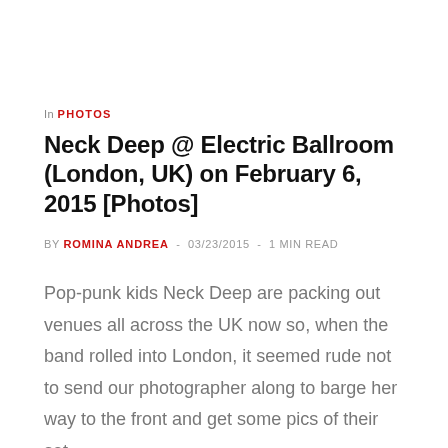In PHOTOS
Neck Deep @ Electric Ballroom (London, UK) on February 6, 2015 [Photos]
BY ROMINA ANDREA - 03/23/2015 - 1 MIN READ
Pop-punk kids Neck Deep are packing out venues all across the UK now so, when the band rolled into London, it seemed rude not to send our photographer along to barge her way to the front and get some pics of their set.